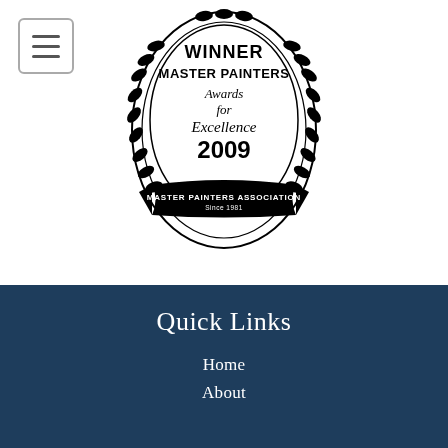[Figure (logo): Winner Master Painters Awards for Excellence 2009 — Master Painters Association Since 1981 badge with laurel wreath border, black and white.]
Quick Links
Home
About